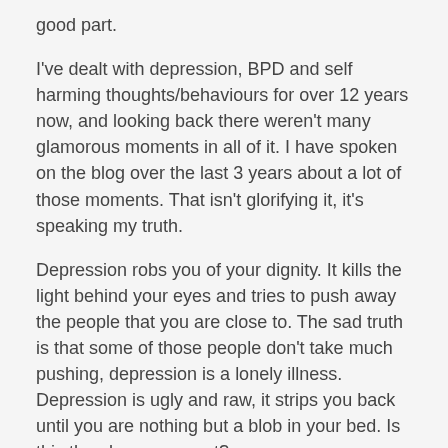good part.
I've dealt with depression, BPD and self harming thoughts/behaviours for over 12 years now, and looking back there weren't many glamorous moments in all of it.  I have spoken on the blog over the last 3 years about a lot of those moments.  That isn't glorifying it, it's speaking my truth.
Depression robs you of your dignity.  It kills the light behind your eyes and tries to push away the people that you are close to.  The sad truth is that some of those people don't take much pushing, depression is a lonely illness.  Depression is ugly and raw, it strips you back until you are nothing but a blob in your bed.  Is this the glamorous part?
Maybe people believe that not being able to work due to a